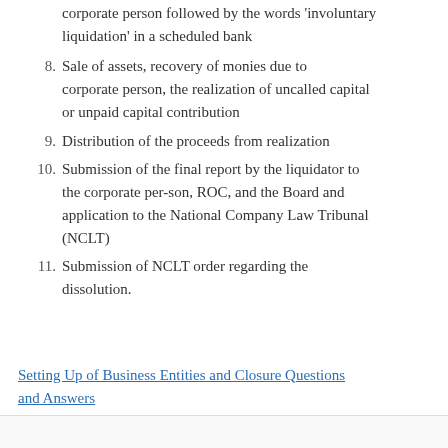corporate person followed by the words 'involuntary liquidation' in a scheduled bank
8. Sale of assets, recovery of monies due to corporate person, the realization of uncalled capital or unpaid capital contribution
9. Distribution of the proceeds from realization
10. Submission of the final report by the liquidator to the corporate per-son, ROC, and the Board and application to the National Company Law Tribunal (NCLT)
11. Submission of NCLT order regarding the dissolution.
Setting Up of Business Entities and Closure Questions and Answers